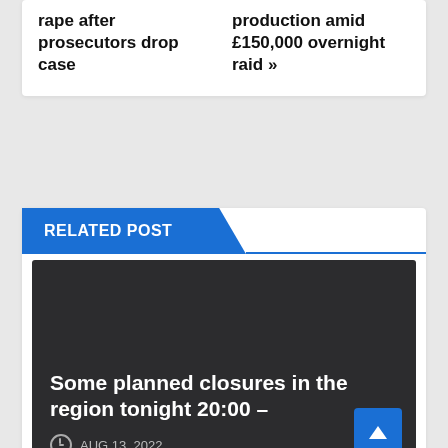rape after prosecutors drop case
production amid £150,000 overnight raid »
RELATED POST
[Figure (photo): Dark background image card for a news article]
Some planned closures in the region tonight 20:00 –
AUG 13, 2022